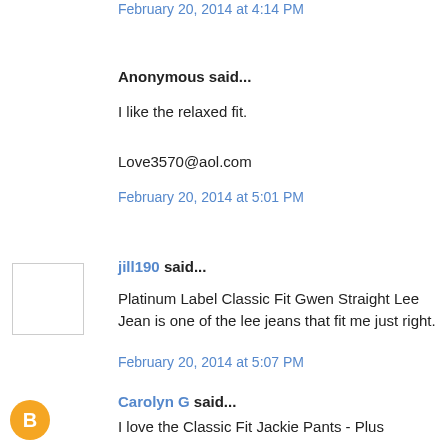February 20, 2014 at 4:14 PM
Anonymous said...
I like the relaxed fit.
Love3570@aol.com
February 20, 2014 at 5:01 PM
jill190 said...
Platinum Label Classic Fit Gwen Straight Lee Jean is one of the lee jeans that fit me just right.
February 20, 2014 at 5:07 PM
Carolyn G said...
I love the Classic Fit Jackie Pants - Plus
February 20, 2014 at 6:26 PM